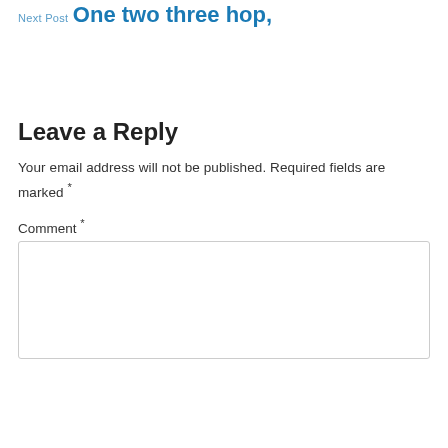Next Post
One two three hop,
Leave a Reply
Your email address will not be published. Required fields are marked *
Comment *